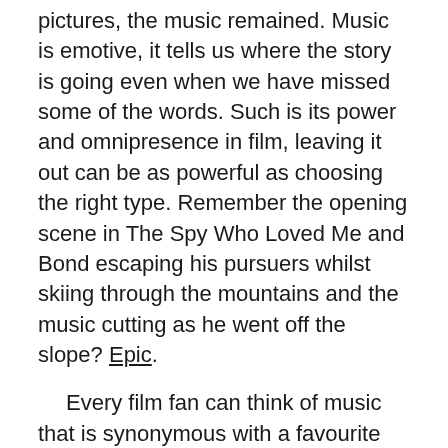pictures, the music remained. Music is emotive, it tells us where the story is going even when we have missed some of the words. Such is its power and omnipresence in film, leaving it out can be as powerful as choosing the right type. Remember the opening scene in The Spy Who Loved Me and Bond escaping his pursuers whilst skiing through the mountains and the music cutting as he went off the slope? Epic.
Every film fan can think of music that is synonymous with a favourite film. The Darth Vader march, The Dambusters, The Godfather, the Superman theme, the spaghetti westerns of Sergio Leone and so many more.
I remember buying the soundtrack album to Coppola's the Cotton Club after watching it twice in the same week. I was similarly blown away by